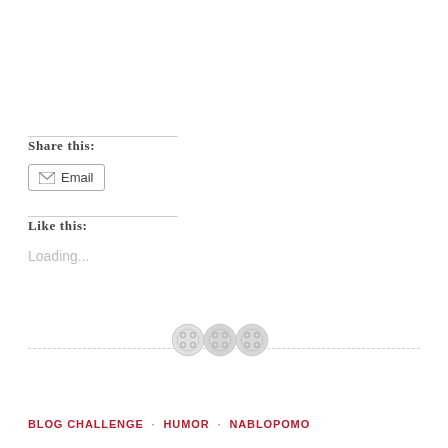Share this:
Email
Post
Save
Like this:
Loading...
[Figure (illustration): Three decorative button/sewing-button icons in light gray arranged in a row along a dashed horizontal divider line]
BLOG CHALLENGE · HUMOR · NABLOPOMO